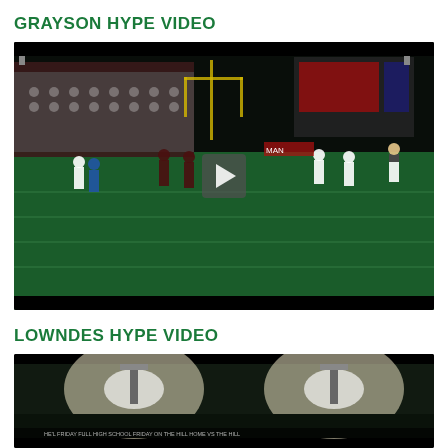GRAYSON HYPE VIDEO
[Figure (screenshot): Night football game screenshot showing players on a green field with stadium lights, scoreboard, and fans in stands. A play button overlay is centered on the image indicating a video thumbnail.]
LOWNDES HYPE VIDEO
[Figure (screenshot): Dark outdoor football stadium at night with bright stadium lights creating glare. Text visible at the bottom of the image. Video thumbnail with black bars at top and bottom.]